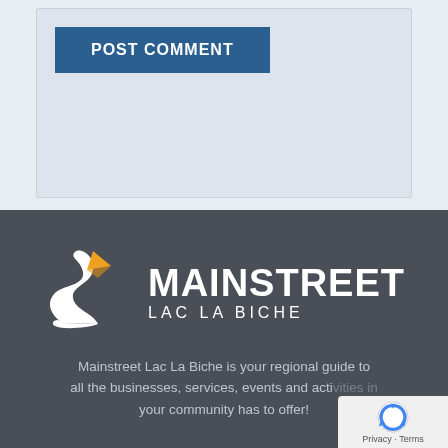[Figure (screenshot): POST COMMENT button in dark blue with white bold uppercase text on a light blue-grey form background area]
[Figure (logo): Mainstreet Lac La Biche logo: pelican/bird SVG illustration in white and orange, with MAINSTREET in large white bold text and LAC LA BICHE in smaller white spaced text, on dark charcoal background]
Mainstreet Lac La Biche is your regional guide to all the businesses, services, events and activities your community has to offer!